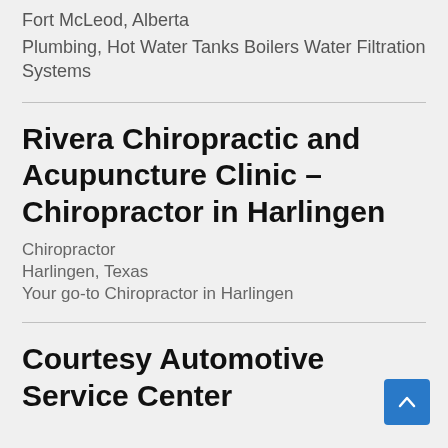Fort McLeod, Alberta
Plumbing, Hot Water Tanks Boilers Water Filtration Systems
Rivera Chiropractic and Acupuncture Clinic – Chiropractor in Harlingen
Chiropractor
Harlingen, Texas
Your go-to Chiropractor in Harlingen
Courtesy Automotive Service Center